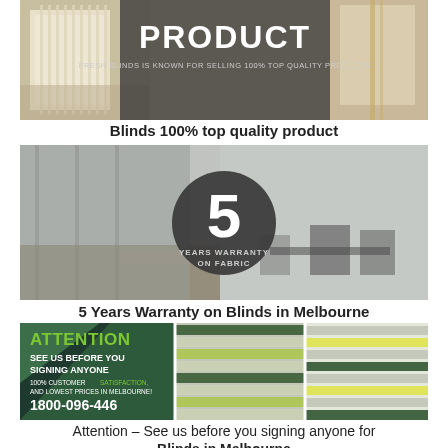[Figure (photo): Banner image of window blinds with overlay text 'PRODUCT - Fresh Blinds is known for selling 100% top quality products']
Blinds 100% top quality product
[Figure (photo): Interior room with roller blinds, dark circular badge reading '5 YEARS WARRANTY ON FABRIC']
5 Years Warranty on Blinds in Melbourne
[Figure (photo): Collage showing ATTENTION advertisement: 'SEE US BEFORE YOU SIGNING ANYONE, 100% CUSTOMER SATISFACTION, AND LOWEST PRICES IN MELBOURNE! 1800-096-446', alongside striped blinds photos]
Attention – See us before you signing anyone for Blinds in Melbourne